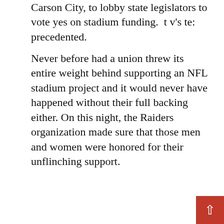Carson City, to lobby state legislators to vote yes on stadium funding. t v's te: precedented.
Never before had a union threw its entire weight behind supporting an NFL stadium project and it would never have happened without their full backing either. On this night, the Raiders organization made sure that those men and women were honored for their unflinching support.
It's a win-win-win for us, the Raiders, and Las Vegas. My people are going to be able to get back to work, and the Raiders get a world class stadium built by the finest men and women in the industry. – Tommy White, Laborers Local 872